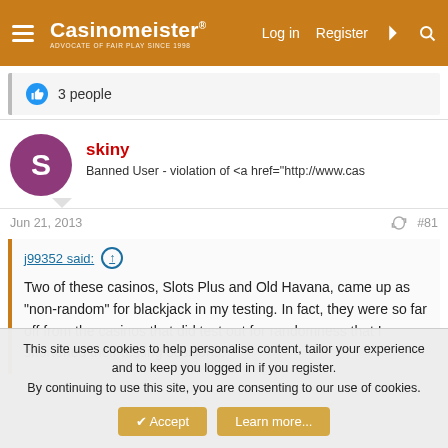Casinomeister® — Log in Register
👍 3 people
skiny
Banned User - violation of <a href="http://www.cas
Jun 21, 2013  #81
j99352 said: ↑

Two of these casinos, Slots Plus and Old Havana, came up as "non-random" for blackjack in my testing. In fact, they were so far off from the casinos that did test out for randomness that I shortened their testing sessions.
This site uses cookies to help personalise content, tailor your experience and to keep you logged in if you register.
By continuing to use this site, you are consenting to our use of cookies.
[Accept] [Learn more...]